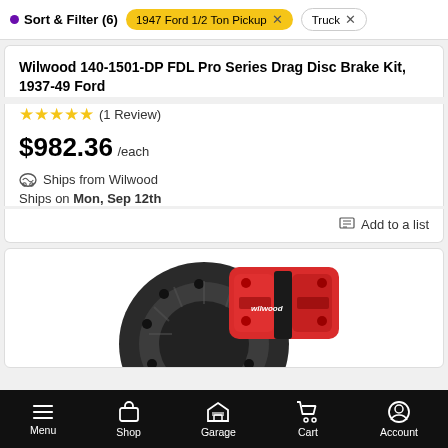Sort & Filter (6)  1947 Ford 1/2 Ton Pickup  Truck
Wilwood 140-1501-DP FDL Pro Series Drag Disc Brake Kit, 1937-49 Ford
★★★★★ (1 Review)
$982.36 /each
Ships from Wilwood
Ships on Mon, Sep 12th
Add to a list
[Figure (photo): Wilwood red brake caliper with drilled rotor disc brake kit product photo]
Menu  Shop  Garage  Cart  Account